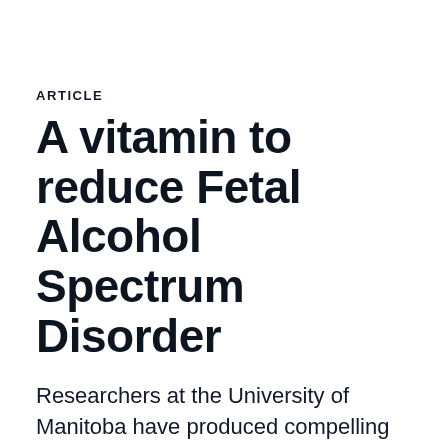ARTICLE
A vitamin to reduce Fetal Alcohol Spectrum Disorder
Researchers at the University of Manitoba have produced compelling evidence that a vitamin A supplement could help prevent a disorder that affects more kids than you might expect